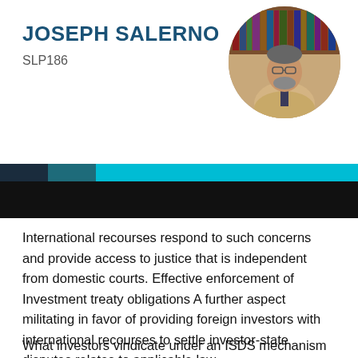JOSEPH SALERNO
SLP186
[Figure (photo): Circular portrait photo of Joseph Salerno, a man with glasses and a beard wearing a suit, with bookshelves in the background]
[Figure (infographic): Decorative banner with dark navy, teal, and cyan horizontal color blocks on top, and a solid black bar below]
International recourses respond to such concerns and provide access to justice that is independent from domestic courts. Effective enforcement of Investment treaty obligations A further aspect militating in favor of providing foreign investors with international recourses to settle investor-state disputes relates to applicable law.
What investors vindicate under an ISDS mechanism